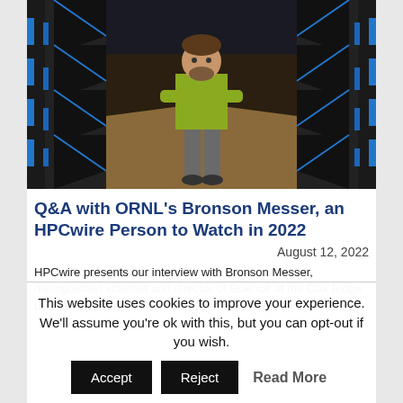[Figure (photo): Man in yellow-green shirt standing with arms crossed in a supercomputer corridor with black and blue server racks on both sides (ORNL Leadership Computing Facility)]
Q&A with ORNL's Bronson Messer, an HPCwire Person to Watch in 2022
August 12, 2022
HPCwire presents our interview with Bronson Messer, distinguished scientist and director of Science at the Oak Ridge Leadership Computing Facility (OLCF), ORNL, and an
This website uses cookies to improve your experience. We'll assume you're ok with this, but you can opt-out if you wish.
Accept  Reject  Read More